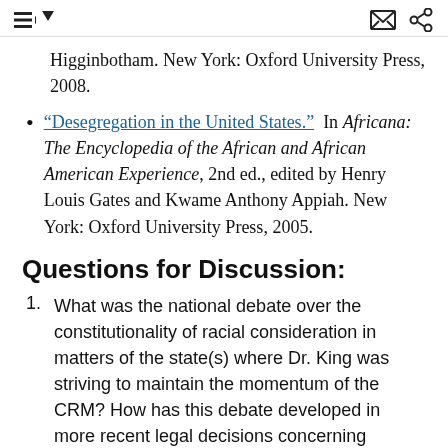[menu icon] [dropdown] [mail icon] [share icon]
Higginbotham. New York: Oxford University Press, 2008.
"Desegregation in the United States." In Africana: The Encyclopedia of the African and African American Experience, 2nd ed., edited by Henry Louis Gates and Kwame Anthony Appiah. New York: Oxford University Press, 2005.
Questions for Discussion:
What was the national debate over the constitutionality of racial consideration in matters of the state(s) where Dr. King was striving to maintain the momentum of the CRM? How has this debate developed in more recent legal decisions concerning affirmative action and the consideration of race in public discourse?